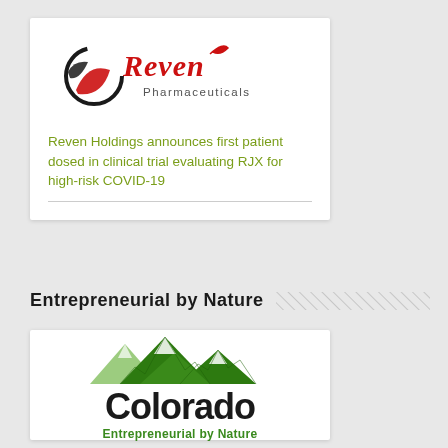[Figure (logo): Reven Pharmaceuticals logo with circular swoosh icon and red cursive Reven text with Pharmaceuticals subtitle]
Reven Holdings announces first patient dosed in clinical trial evaluating RJX for high-risk COVID-19
Entrepreneurial by Nature
[Figure (logo): Colorado Entrepreneurial by Nature logo with green mountain peaks illustration above the word Colorado in bold black and green tagline text]